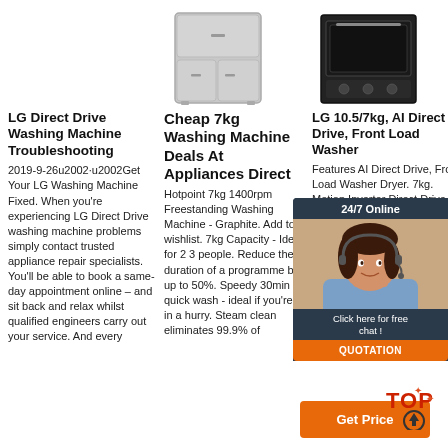[Figure (photo): Silver French door refrigerator appliance image at top center]
[Figure (photo): Black oven/dishwasher appliance image at top right]
LG Direct Drive Washing Machine Troubleshooting
2019-9-26u2002·u2002Get Your LG Washing Machine Fixed. When you're experiencing LG Direct Drive washing machine problems simply contact trusted appliance repair specialists. You'll be able to book a same-day appointment online – and sit back and relax whilst qualified engineers carry out your service. And every
Cheap 7kg Washing Machine Deals At Appliances Direct
Hotpoint 7kg 1400rpm Freestanding Washing Machine - Graphite. Add to wishlist. 7kg Capacity - Ideal for 2 3 people. Reduce the duration of a programme by up to 50%. Speedy 30min quick wash - ideal if you're in a hurry. Steam clean eliminates 99.9% of
LG 10.5/7kg, AI Direct Drive, Front Load Washer
Features AI Direct Drive, Front Load Washer Dryer. 7kg. Motion Inverter Direct Drive Front Load Washing Machine. Capacity. 10.5/7kg. 7kg. Dimensions (W × D × H) 600 x 850 x 565 mm. 600 x 850 x 450 mm.
[Figure (photo): 24/7 Online chat widget with customer service representative photo, 'Click here for free chat!' text and QUOTATION button]
Get Price